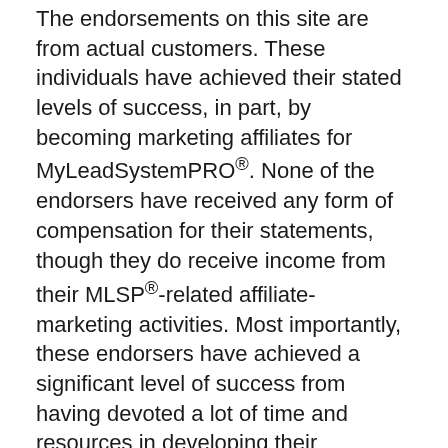The endorsements on this site are from actual customers. These individuals have achieved their stated levels of success, in part, by becoming marketing affiliates for MyLeadSystemPRO®. None of the endorsers have received any form of compensation for their statements, though they do receive income from their MLSP®-related affiliate-marketing activities. Most importantly, these endorsers have achieved a significant level of success from having devoted a lot of time and resources in developing their businesses. For each of our endorsers, success was neither quick nor easy. You should anticipate numerous challenges. Many will try, few will succeed.
We make no guarantees-express or implied-regarding your experiences and results. Running a business involves numerous risks. Do your due diligence before you purchase anything from us. Obtain advice from an attorney, accountant, or other qualified professionals before starting. By